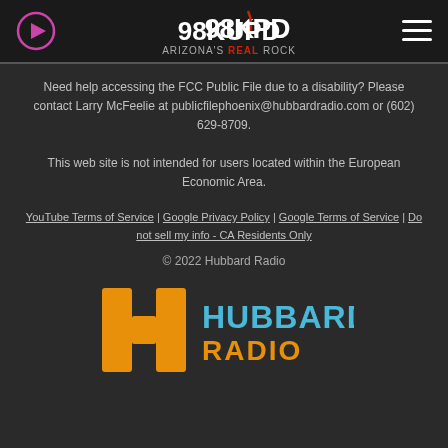[Figure (logo): 98KUPD Arizona's Real Rock radio station logo with play button and hamburger menu]
Need help accessing the FCC Public File due to a disability? Please contact Larry McFeelie at publicfilephoenix@hubbardradio.com or (602) 629-8709.
This web site is not intended for users located within the European Economic Area.
YouTube Terms of Service | Google Privacy Policy | Google Terms of Service | Do not sell my info - CA Residents Only
© 2022 Hubbard Radio
[Figure (logo): Hubbard Radio logo with orange H icon and blue/orange text]